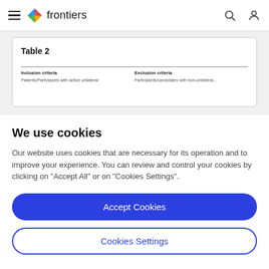frontiers
| Inclusion criteria | Exclusion criteria |
| --- | --- |
| Patients/Participants with active unilateral temporal lobe epilepsy or similar | Participants with non-temporal lobe epilepsy or bilateral... |
We use cookies
Our website uses cookies that are necessary for its operation and to improve your experience. You can review and control your cookies by clicking on "Accept All" or on "Cookies Settings".